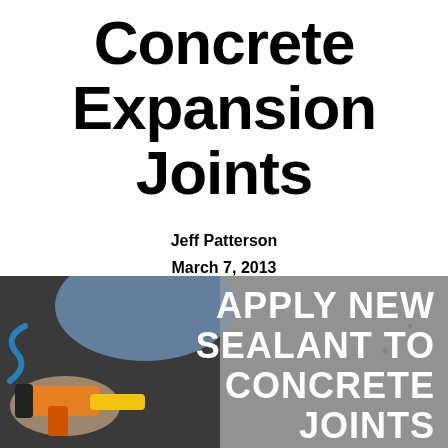Concrete Expansion Joints
Jeff Patterson
March 7, 2013
Exterior DIY Projects
[Figure (photo): Person using a caulk gun to apply sealant to a concrete expansion joint, with overlaid text reading 'APPLY NEW SEALANT TO CONCRETE JOINTS']